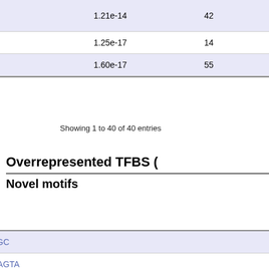| Motifs |  |  |
| --- | --- | --- |
| multi fate stem cell | 1.21e-14 | 4... |
| B cell | 1.25e-17 | 14... |
| nucleate cell | 1.60e-17 | 5... |
Showing 1 to 40 of 40 entries
Overrepresented TFBS (
Novel motifs
| Motifs |
| --- |
| motif90_TTATATCGC |
| motif26_CTCCGCAGTA |
| motif136_GTCTGCGTCTCT |
| motif109_TCNMTMGC |